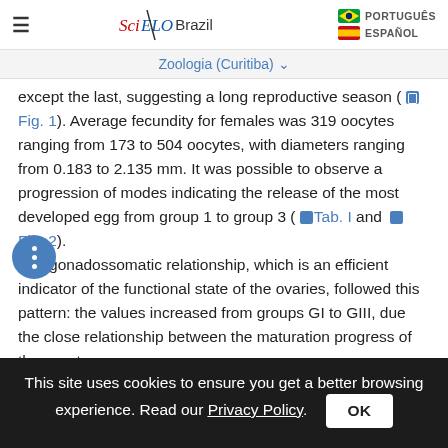SciELO Brazil | Zoologia (Curitiba) | PORTUGUÊS | ESPAÑOL
except the last, suggesting a long reproductive season (Fig. 1). Average fecundity for females was 319 oocytes ranging from 173 to 504 oocytes, with diameters ranging from 0.183 to 2.135 mm. It was possible to observe a progression of modes indicating the release of the most developed egg from group 1 to group 3 (Tab. I and Fig. 2). The gonadossomatic relationship, which is an efficient indicator of the functional state of the ovaries, followed this pattern: the values increased from groups GI to GIII, due the close relationship between the maturation progress of the oocytes
This site uses cookies to ensure you get a better browsing experience. Read our Privacy Policy.